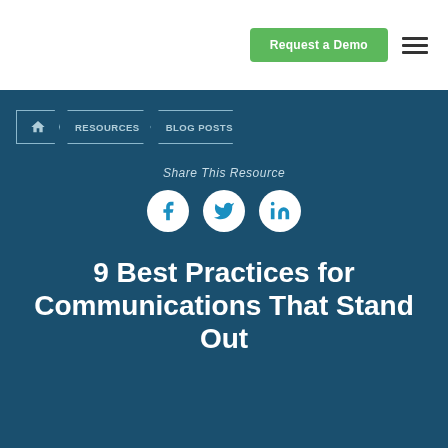Request a Demo
Share This Resource
[Figure (other): Social share icons: Facebook, Twitter, LinkedIn]
9 Best Practices for Communications That Stand Out